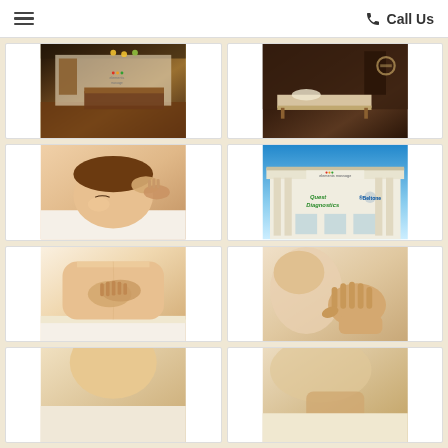☰  Call Us
[Figure (photo): Elements Massage reception/lobby interior with dark wood floors, reception desk, pendant lights]
[Figure (photo): Massage treatment room with table, dark wood walls and ambient lighting]
[Figure (photo): Woman receiving shoulder/neck massage, lying on table with eyes closed]
[Figure (photo): Storefront exterior with Elements Massage sign and Quest Diagnostics and Beltone storefronts visible]
[Figure (photo): Therapist performing back massage on client lying on table]
[Figure (photo): Close-up of therapist hands performing neck/pressure point massage]
[Figure (photo): Partially visible photo bottom left]
[Figure (photo): Partially visible photo bottom right]